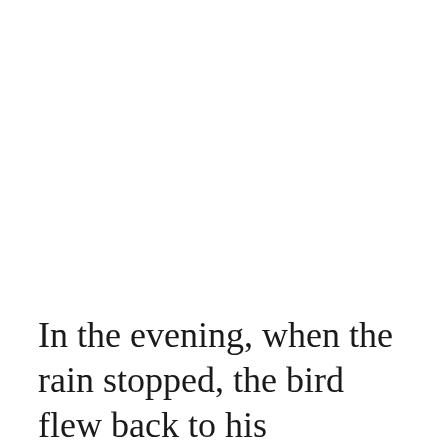In the evening, when the rain stopped, the bird flew back to his